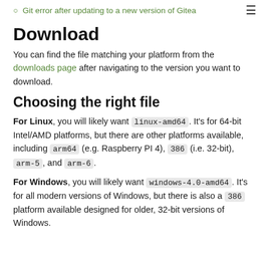Git error after updating to a new version of Gitea
Download
You can find the file matching your platform from the downloads page after navigating to the version you want to download.
Choosing the right file
For Linux, you will likely want linux-amd64. It's for 64-bit Intel/AMD platforms, but there are other platforms available, including arm64 (e.g. Raspberry PI 4), 386 (i.e. 32-bit), arm-5, and arm-6.
For Windows, you will likely want windows-4.0-amd64. It's for all modern versions of Windows, but there is also a 386 platform available designed for older, 32-bit versions of Windows.